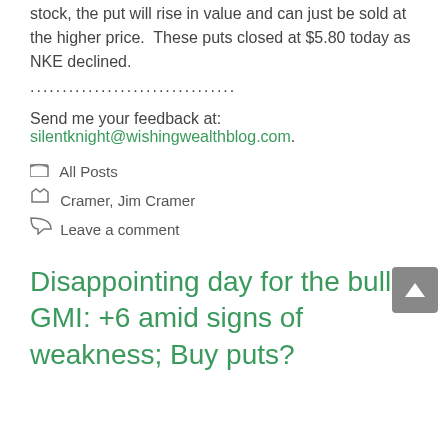stock, the put will rise in value and can just be sold at the higher price.  These puts closed at $5.80 today as NKE declined.
................................
Send me your feedback at:
silentknight@wishingwealthblog.com.
All Posts
Cramer, Jim Cramer
Leave a comment
Disappointing day for the bulls; GMI: +6 amid signs of weakness; Buy puts?